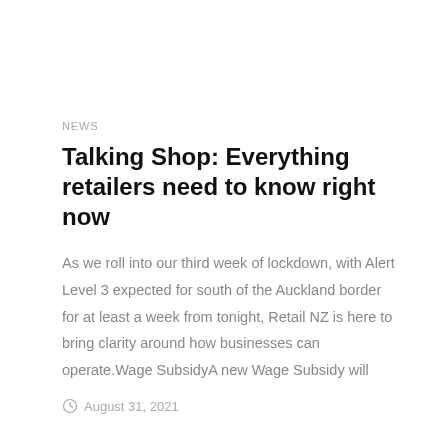NEWS
Talking Shop: Everything retailers need to know right now
As we roll into our third week of lockdown, with Alert Level 3 expected for south of the Auckland border for at least a week from tonight, Retail NZ is here to bring clarity around how businesses can operate.Wage SubsidyA new Wage Subsidy will
August 31, 2021